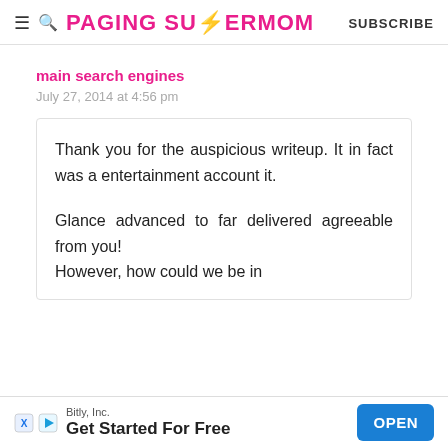PAGING SUPERMOM | SUBSCRIBE
main search engines
July 27, 2014 at 4:56 pm
Thank you for the auspicious writeup. It in fact was a entertainment account it.

Glance advanced to far delivered agreeable from you!
However, how could we be in
[Figure (other): Bitly, Inc. advertisement banner with 'Get Started For Free' text and blue OPEN button]